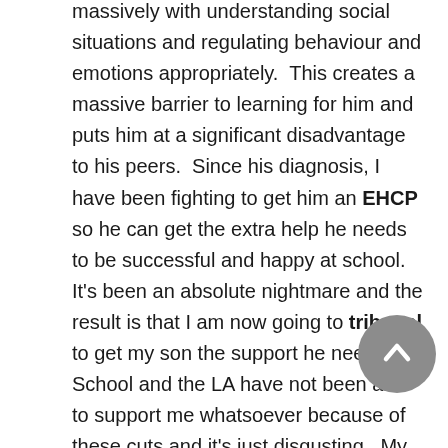massively with understanding social situations and regulating behaviour and emotions appropriately. This creates a massive barrier to learning for him and puts him at a significant disadvantage to his peers. Since his diagnosis, I have been fighting to get him an EHCP so he can get the extra help he needs to be successful and happy at school. It's been an absolute nightmare and the result is that I am now going to tribunal to get my son the support he needs. School and the LA have not been able to support me whatsoever because of these cuts and it's just disgusting. My little boy deserves an equal opportunity to an education just like any other neuro typical child – he is a bright special boy and could just be an AMAZING adult, just like so many autistic people. We are currently putting further and unnecessary obstacles in his path due to the austerity that this government is inflicting on our society's most vulnerable people. I refuse to sit back and watch my